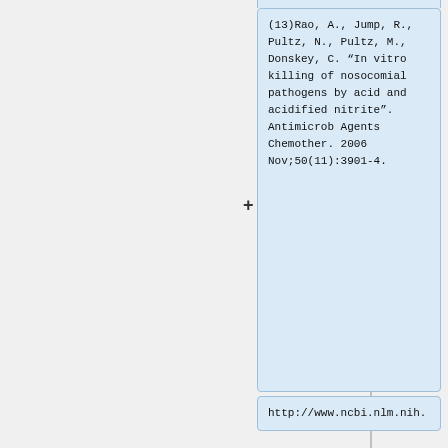(13)Rao, A., Jump, R., Pultz, N., Pultz, M., Donskey, C. “In vitro killing of nosocomial pathogens by acid and acidified nitrite”. Antimicrob Agents Chemother. 2006 Nov;50(11):3901-4.
http://www.ncbi.nlm.nih.